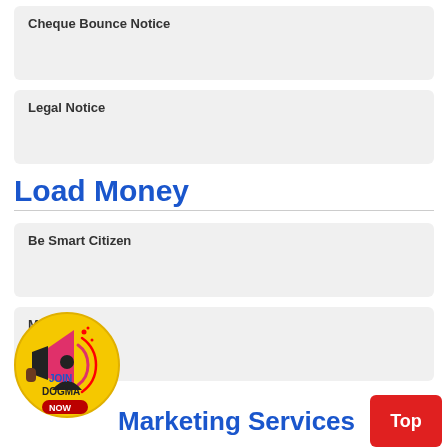Cheque Bounce Notice
Legal Notice
Load Money
Be Smart Citizen
Mobikwik
[Figure (illustration): Promotional badge/icon with a megaphone, a person silhouette, text JOIN DOGMA NOW inside a yellow circle]
Marketing Services
Top